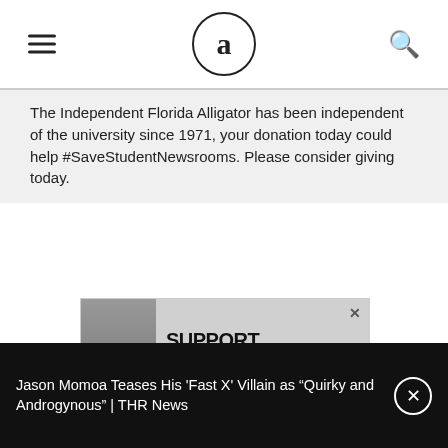Independent Florida Alligator — logo and navigation
The Independent Florida Alligator has been independent of the university since 1971, your donation today could help #SaveStudentNewsrooms. Please consider giving today.
[Figure (infographic): Advertisement banner reading 'SUPPORT GAINESVILLE'S GUTSY & AMBITIOUS' with a person on the left side and an X close button in the top right]
Jason Momoa Teases His 'Fast X' Villain as "Quirky and Androgynous" | THR News